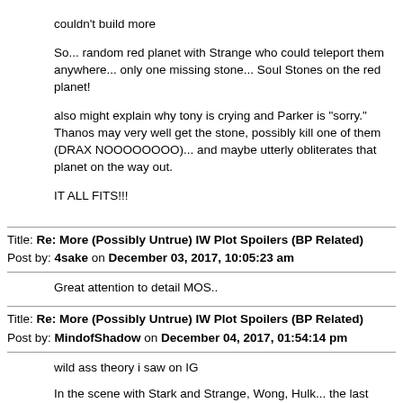couldn't build more

So... random red planet with Strange who could teleport them anywhere... only one missing stone... Soul Stones on the red planet!

also might explain why tony is crying and Parker is "sorry." Thanos may very well get the stone, possibly kill one of them (DRAX NOOOOOOOO)... and maybe utterly obliterates that planet on the way out.

IT ALL FITS!!!
Title: Re: More (Possibly Untrue) IW Plot Spoilers (BP Related)
Post by: 4sake on December 03, 2017, 10:05:23 am
Great attention to detail MOS..
Title: Re: More (Possibly Untrue) IW Plot Spoilers (BP Related)
Post by: MindofShadow on December 04, 2017, 01:54:14 pm
wild ass theory i saw on IG

In the scene with Stark and Strange, Wong, Hulk... the last three are frozen while stark moves... implying the time stone is in play.